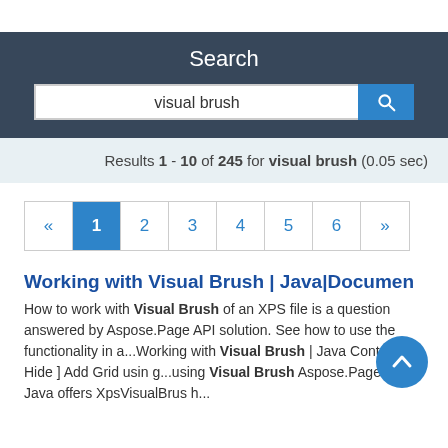Search
visual brush
Results 1 - 10 of 245 for visual brush (0.05 sec)
« 1 2 3 4 5 6 »
Working with Visual Brush | Java|Documents
How to work with Visual Brush of an XPS file is a question answered by Aspose.Page API solution. See how to use the functionality in a...Working with Visual Brush | Java Contents [ Hide ] Add Grid using...using Visual Brush Aspose.Page for Java offers XpsVisualBrus h...